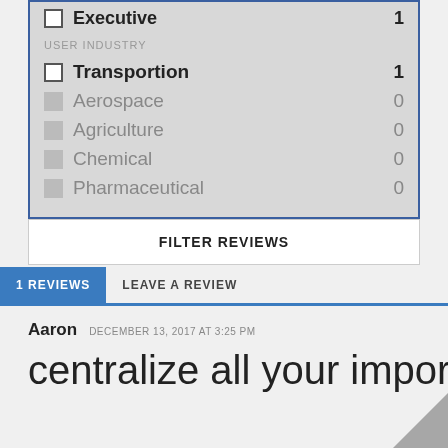Executive 1
USER INDUSTRY
Transportion 1
Aerospace 0
Agriculture 0
Chemical 0
Pharmaceutical 0
FILTER REVIEWS
1 REVIEWS
LEAVE A REVIEW
Aaron   DECEMBER 13, 2017 AT 3:25 PM
centralize all your important